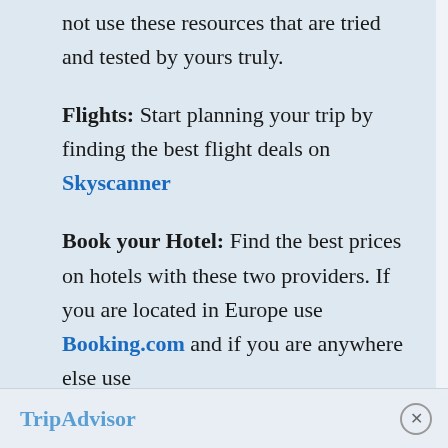not use these resources that are tried and tested by yours truly.

Flights: Start planning your trip by finding the best flight deals on Skyscanner

Book your Hotel: Find the best prices on hotels with these two providers. If you are located in Europe use Booking.com and if you are anywhere else use
TripAdvisor